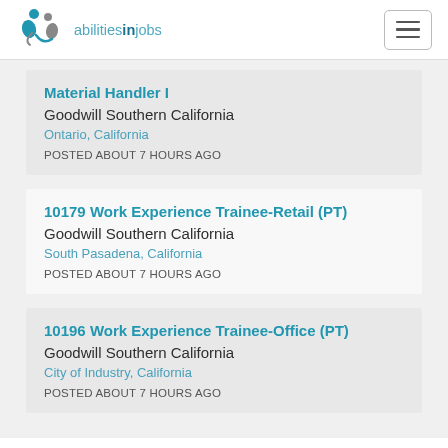[Figure (logo): abilitiesinjobs logo with icon of figures]
Material Handler I
Goodwill Southern California
Ontario, California
POSTED ABOUT 7 HOURS AGO
10179 Work Experience Trainee-Retail (PT)
Goodwill Southern California
South Pasadena, California
POSTED ABOUT 7 HOURS AGO
10196 Work Experience Trainee-Office (PT)
Goodwill Southern California
City of Industry, California
POSTED ABOUT 7 HOURS AGO